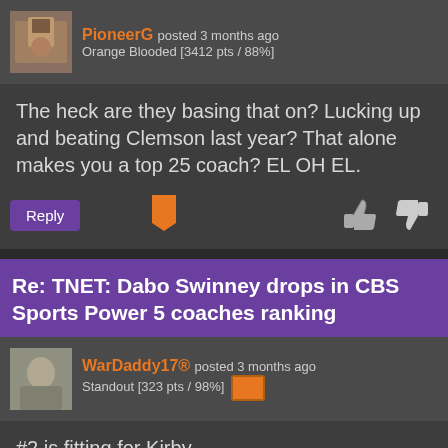PioneerG posted 3 months ago
Orange Blooded [3412 pts / 88%]
The heck are they basing that on? Lucking up and beating Clemson last year? That alone makes you a top 25 coach? EL OH EL.
Re: TNET: Dabo Swinney drops in CBS Sports Power 5 coaches ranking
WarDaddy17® posted 3 months ago
Standout [323 pts / 98%]
#2 is fitting for Kirby.
Re: TNET: Dabo Swinney drops in CBS Sports